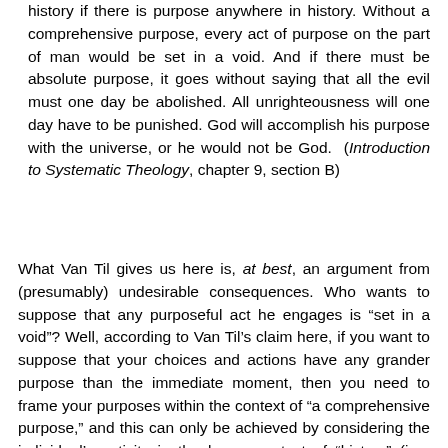history if there is purpose anywhere in history. Without a comprehensive purpose, every act of purpose on the part of man would be set in a void. And if there must be absolute purpose, it goes without saying that all the evil must one day be abolished. All unrighteousness will one day have to be punished. God will accomplish his purpose with the universe, or he would not be God. (Introduction to Systematic Theology, chapter 9, section B)
What Van Til gives us here is, at best, an argument from (presumably) undesirable consequences. Who wants to suppose that any purposeful act he engages is “set in a void”? Well, according to Van Til’s claim here, if you want to suppose that your choices and actions have any grander purpose than the immediate moment, then you need to frame your purposes within the context of “a comprehensive purpose,” and this can only be achieved by considering the individual’s activity in the larger context of “history” (i.e., something for which no single individual is exclusively responsible), which relegates any individual’s actions to a